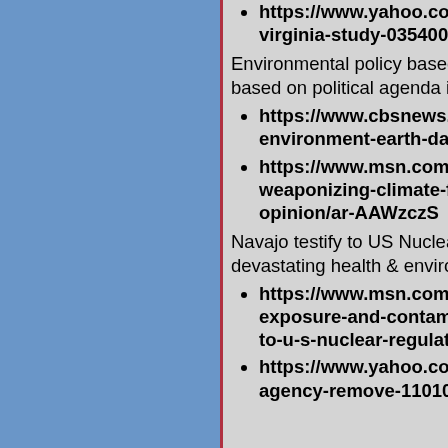https://www.yahoo.com/...virginia-study-03540078
Environmental policy based on tr... based on political agenda is not
https://www.cbsnews.co...environment-earth-day/
https://www.msn.com/en...weaponizing-climate-for...opinion/ar-AAWzczS
Navajo testify to US Nuclear Reg... devastating health & environmen...
https://www.msn.com/en...exposure-and-contamin...to-u-s-nuclear-regulator
https://www.yahoo.com/...agency-remove-11010068